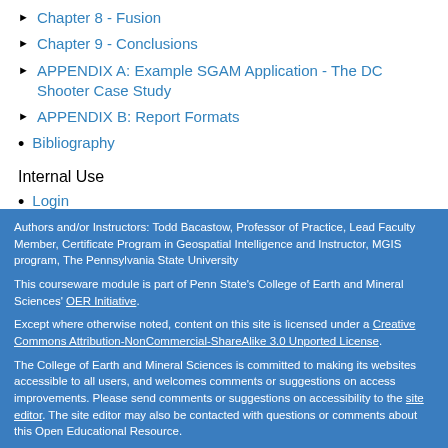Chapter 8 - Fusion
Chapter 9 - Conclusions
APPENDIX A: Example SGAM Application - The DC Shooter Case Study
APPENDIX B: Report Formats
Bibliography
Internal Use
Login
Authors and/or Instructors: Todd Bacastow, Professor of Practice, Lead Faculty Member, Certificate Program in Geospatial Intelligence and Instructor, MGIS program, The Pennsylvania State University
This courseware module is part of Penn State's College of Earth and Mineral Sciences' OER Initiative.
Except where otherwise noted, content on this site is licensed under a Creative Commons Attribution-NonCommercial-ShareAlike 3.0 Unported License.
The College of Earth and Mineral Sciences is committed to making its websites accessible to all users, and welcomes comments or suggestions on access improvements. Please send comments or suggestions on accessibility to the site editor. The site editor may also be contacted with questions or comments about this Open Educational Resource.